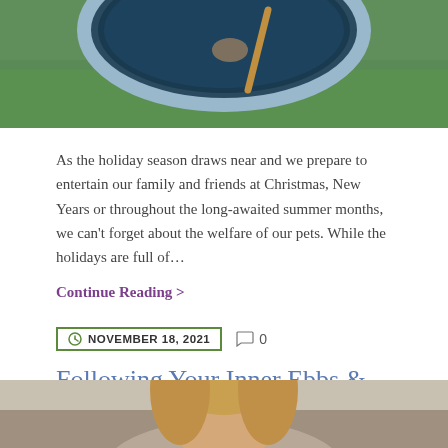[Figure (photo): Top portion of a photo showing a dog or animal in a round blue paddling pool on a green grass lawn, with a stick visible]
As the holiday season draws near and we prepare to entertain our family and friends at Christmas, New Years or throughout the long-awaited summer months, we can't forget about the welfare of our pets. While the holidays are full of…
Continue Reading >
NOVEMBER 18, 2021   0
Following Your Inner Ebbs & Flow
[Figure (photo): Bottom portion of a photo showing a woman with blonde hair, cropped at the top of the page]